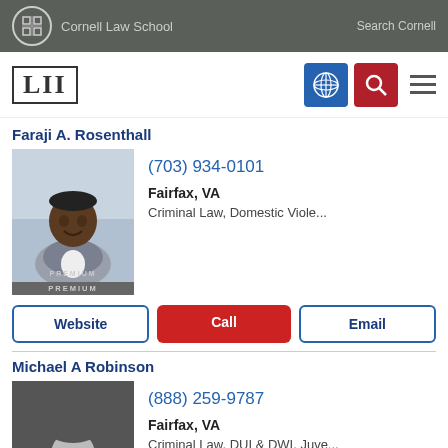Cornell Law School | Search Cornell
[Figure (logo): LII Legal Information Institute logo with navigation icons]
Faraji A. Rosenthall
[Figure (photo): Professional headshot of Faraji A. Rosenthall, smiling man in gray suit, PREMIUM label]
(703) 934-0101
Fairfax, VA
Criminal Law, Domestic Viole...
Website | Call | Email
Michael A Robinson
[Figure (photo): Professional headshot of Michael A Robinson, man in dark suit, black and white, PREMIUM label]
(888) 259-9787
Fairfax, VA
Criminal Law, DUI & DWI, Juve...